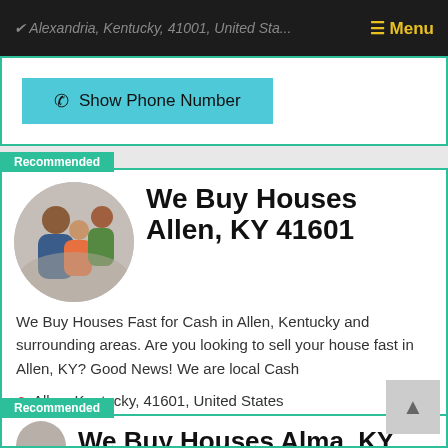Alexandria, Kentucky, 41001, United States  ☰ Menu
[Figure (screenshot): Show Phone Number button (teal/cyan background) from previous listing card, partially visible]
Recommended
We Buy Houses Allen, KY 41601
We Buy Houses Fast for Cash in Allen, Kentucky and surrounding areas. Are you looking to sell your house fast in Allen, KY? Good News! We are local Cash
Allen, Kentucky, 41601, United States
Show Phone Number
Recommended
We Buy Houses Alma, KY